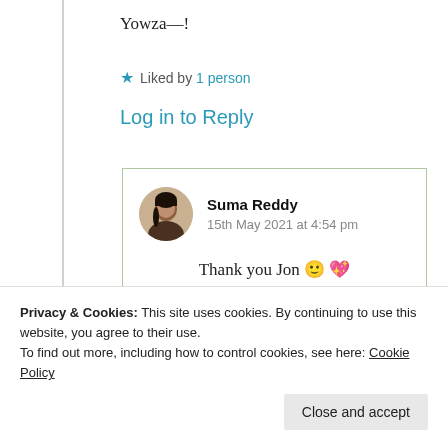Yowza—!
★ Liked by 1 person
Log in to Reply
Suma Reddy
15th May 2021 at 4:54 pm
Thank you Jon 🙂 💖
Privacy & Cookies: This site uses cookies. By continuing to use this website, you agree to their use.
To find out more, including how to control cookies, see here: Cookie Policy
Close and accept